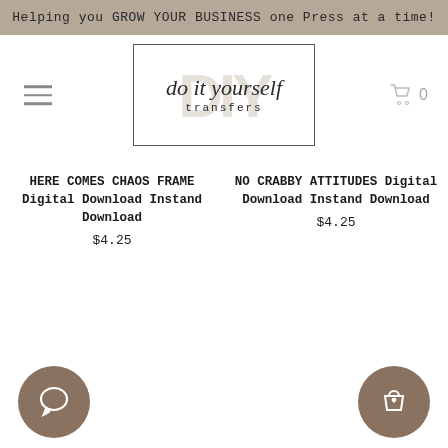Helping you GROW YOUR BUSINESS one Press at a time!
[Figure (logo): Do It Yourself Transfers logo with script handwriting inside a rectangle, DIY letters in background watermark]
HERE COMES CHAOS FRAME Digital Download Instand Download $4.25
NO CRABBY ATTITUDES Digital Download Instand Download $4.25
[Figure (illustration): Chat bubble icon in brown circle (bottom left)]
[Figure (illustration): Shopping bag with heart icon in brown circle (bottom right)]